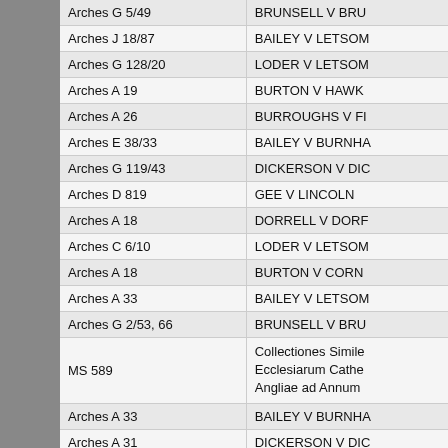| Reference | Case |
| --- | --- |
| Arches G 5/49 | BRUNSELL V BRU |
| Arches J 18/87 | BAILEY V LETSOM |
| Arches G 128/20 | LODER V LETSOM |
| Arches A 19 | BURTON V HAWK |
| Arches A 26 | BURROUGHS V FI |
| Arches E 38/33 | BAILEY V BURNHA |
| Arches G 119/43 | DICKERSON V DIC |
| Arches D 819 | GEE V LINCOLN |
| Arches A 18 | DORRELL V DORF |
| Arches C 6/10 | LODER V LETSOM |
| Arches A 18 | BURTON V CORN |
| Arches A 33 | BAILEY V LETSOM |
| Arches G 2/53, 66 | BRUNSELL V BRU |
| MS 589 | Collectiones Simile Ecclesiarum Cathe Angliae ad Annum |
| Arches A 33 | BAILEY V BURNHA |
| Arches A 31 | DICKERSON V DIC |
| Arches G 128/31 | LODER V LETSOM |